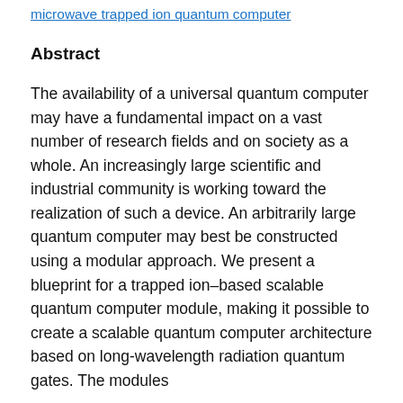microwave trapped ion quantum computer
Abstract
The availability of a universal quantum computer may have a fundamental impact on a vast number of research fields and on society as a whole. An increasingly large scientific and industrial community is working toward the realization of such a device. An arbitrarily large quantum computer may best be constructed using a modular approach. We present a blueprint for a trapped ion–based scalable quantum computer module, making it possible to create a scalable quantum computer architecture based on long-wavelength radiation quantum gates. The modules